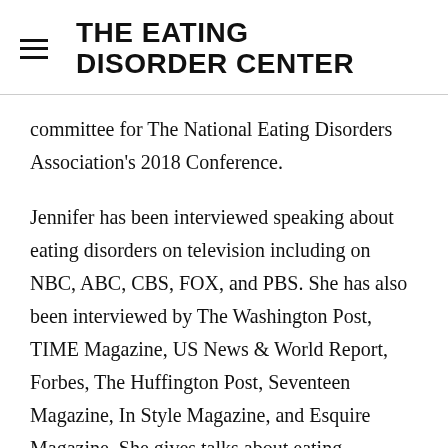THE EATING DISORDER CENTER
committee for The National Eating Disorders Association's 2018 Conference.
Jennifer has been interviewed speaking about eating disorders on television including on NBC, ABC, CBS, FOX, and PBS. She has also been interviewed by The Washington Post, TIME Magazine, US News & World Report, Forbes, The Huffington Post, Seventeen Magazine, In Style Magazine, and Esquire Magazine. She gives talks about eating disorders at national eating disorder conferences, therapy centers, retreats, and